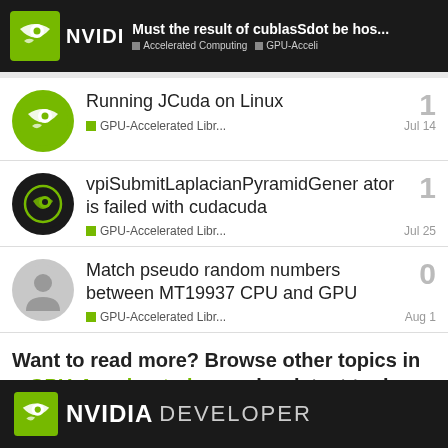Must the result of cublasSdot be hos... | Accelerated Computing | GPU-Acceli
Running JCuda on Linux | GPU-Accelerated Libr... | Jul 14 | 1
vpiSubmitLaplacianPyramidGenerator is failed with cudacuda | GPU-Accelerated Libr... | Jul 25 | 1
Match pseudo random numbers between MT19937 CPU and GPU | GPU-Accelerated Libr... | Aug 1 | 0
Want to read more? Browse other topics in GPU-Accelerated ... or view latest topics.
NVIDIA DEVELOPER